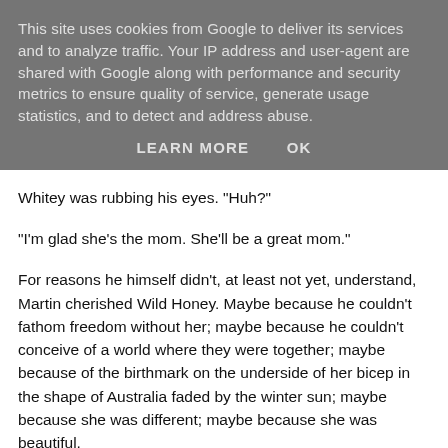This site uses cookies from Google to deliver its services and to analyze traffic. Your IP address and user-agent are shared with Google along with performance and security metrics to ensure quality of service, generate usage statistics, and to detect and address abuse.
LEARN MORE    OK
Whitey was rubbing his eyes. "Huh?"
"I'm glad she's the mom. She'll be a great mom."
For reasons he himself didn't, at least not yet, understand, Martin cherished Wild Honey. Maybe because he couldn't fathom freedom without her; maybe because he couldn't conceive of a world where they were together; maybe because of the birthmark on the underside of her bicep in the shape of Australia faded by the winter sun; maybe because she was different; maybe because she was beautiful.